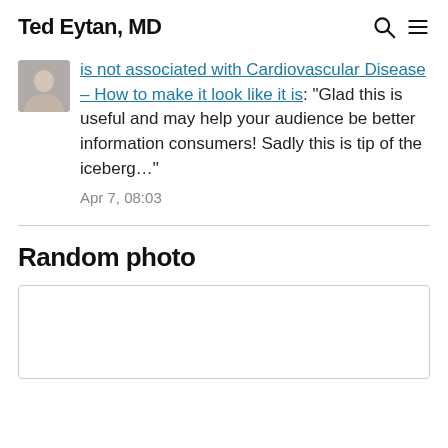Ted Eytan, MD
is not associated with Cardiovascular Disease – How to make it look like it is: "Glad this is useful and may help your audience be better information consumers! Sadly this is tip of the iceberg…"
Apr 7, 08:03
Random photo
[Figure (photo): Empty photo placeholder box]